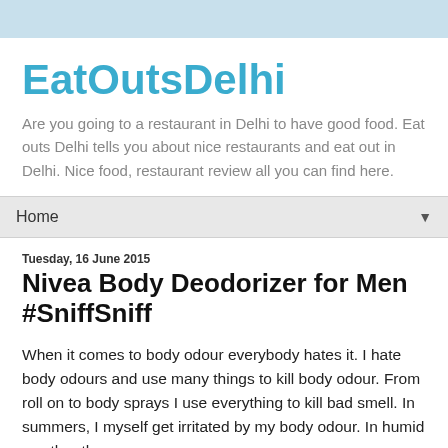EatOutsDelhi
Are you going to a restaurant in Delhi to have good food. Eat outs Delhi tells you about nice restaurants and eat out in Delhi. Nice food, restaurant review all you can find here.
Home ▼
Tuesday, 16 June 2015
Nivea Body Deodorizer for Men #SniffSniff
When it comes to body odour everybody hates it. I hate body odours and use many things to kill body odour. From roll on to body sprays I use everything to kill bad smell. In summers, I myself get irritated by my body odour. In humid weather the